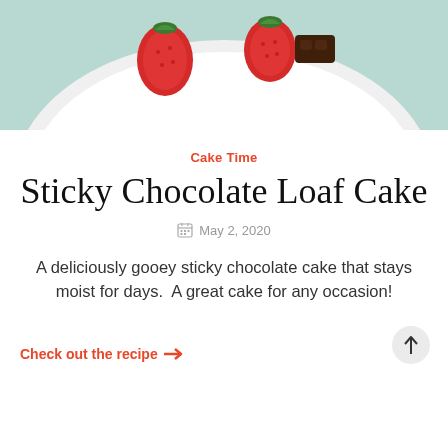[Figure (photo): Photo of strawberries and chocolate on a white plate, cropped at top of page, teal/mint background visible]
Cake Time
Sticky Chocolate Loaf Cake
May 2, 2020
A deliciously gooey sticky chocolate cake that stays moist for days.  A great cake for any occasion!
Check out the recipe →